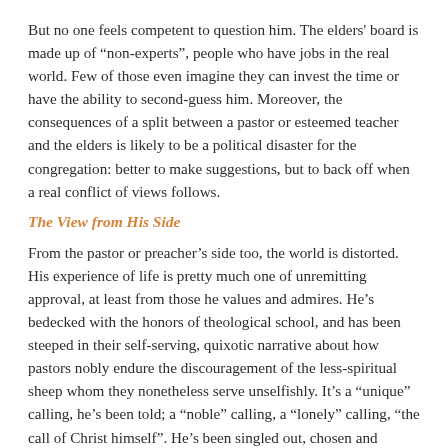But no one feels competent to question him. The elders' board is made up of “non-experts”, people who have jobs in the real world. Few of those even imagine they can invest the time or have the ability to second-guess him. Moreover, the consequences of a split between a pastor or esteemed teacher and the elders is likely to be a political disaster for the congregation: better to make suggestions, but to back off when a real conflict of views follows.
The View from His Side
From the pastor or preacher’s side too, the world is distorted. His experience of life is pretty much one of unremitting approval, at least from those he values and admires. He’s bedecked with the honors of theological school, and has been steeped in their self-serving, quixotic narrative about how pastors nobly endure the discouragement of the less-spiritual sheep whom they nonetheless serve unselfishly. It’s a “unique” calling, he’s been told; a “noble” calling, a “lonely” calling, “the call of Christ himself”. He’s been singled out, chosen and approved.
And this myth is reinforced in his congregational experience. People defer to him instinctively. After all, he’s the only one with